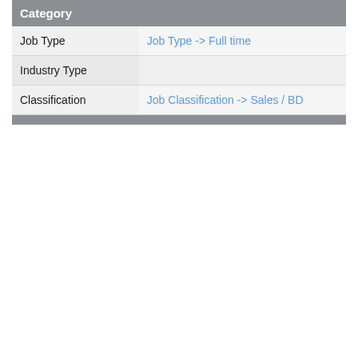| Category |  |
| --- | --- |
| Job Type | Job Type -> Full time |
| Industry Type |  |
| Classification | Job Classification -> Sales / BD |